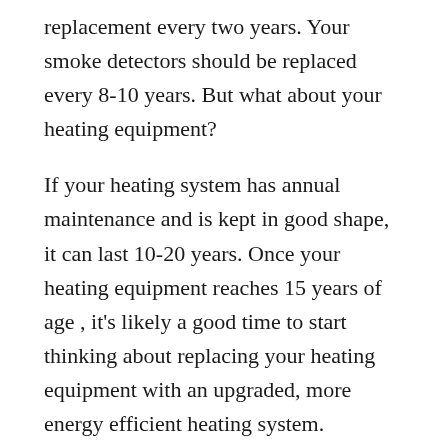replacement every two years. Your smoke detectors should be replaced every 8-10 years. But what about your heating equipment?
If your heating system has annual maintenance and is kept in good shape, it can last 10-20 years. Once your heating equipment reaches 15 years of age , it's likely a good time to start thinking about replacing your heating equipment with an upgraded, more energy efficient heating system. Installed properly, these high-efficiency furnaces can save up to 20% on heating costs. Even if your heating system still seems to be working fine, it's better to start looking into your options now instead of waiting until your equipment breaks down in the middle of a terrible freeze and you're